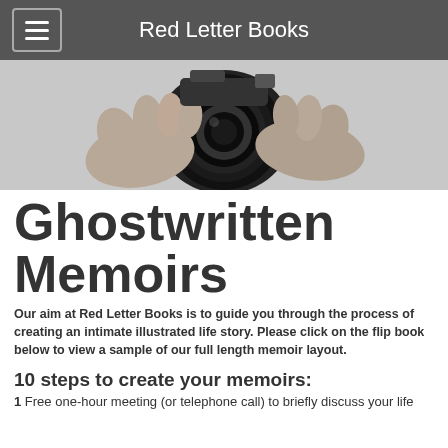Red Letter Books
[Figure (photo): Black and white photo of hands holding a camera pointed toward the viewer, close-up shot.]
Ghostwritten Memoirs
Our aim at Red Letter Books is to guide you through the process of creating an intimate illustrated life story. Please click on the flip book below to view a sample of our full length memoir layout.
10 steps to create your memoirs:
1  Free one-hour meeting (or telephone call) to briefly discuss your life